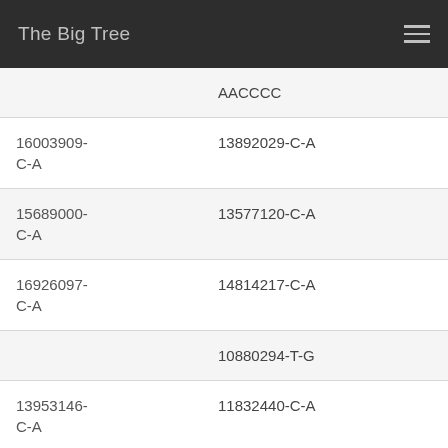The Big Tree
|  | AACCCC |
| 16003909-C-A | 13892029-C-A |
| 15689000-C-A | 13577120-C-A |
| 16926097-C-A | 14814217-C-A |
|  | 10880294-T-G |
| 13953146-C-A | 11832440-C-A |
| 14367622-C-A | 12246918-C-A |
| 7031091-C-T | 7163050-C-T |